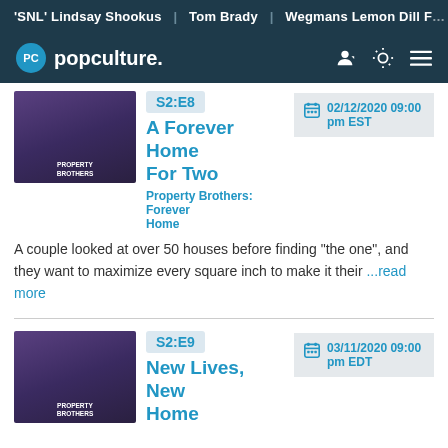'SNL' Lindsay Shookus | Tom Brady | Wegmans Lemon Dill F...
[Figure (logo): Popculture.com logo with navigation icons]
S2:E8
A Forever Home For Two
Property Brothers: Forever Home
02/12/2020 09:00 pm EST
A couple looked at over 50 houses before finding "the one", and they want to maximize every square inch to make it their ...read more
S2:E9
New Lives, New Home
03/11/2020 09:00 pm EDT